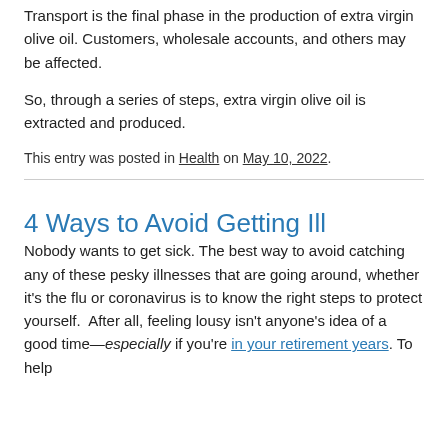Transport is the final phase in the production of extra virgin olive oil. Customers, wholesale accounts, and others may be affected.
So, through a series of steps, extra virgin olive oil is extracted and produced.
This entry was posted in Health on May 10, 2022.
4 Ways to Avoid Getting Ill
Nobody wants to get sick. The best way to avoid catching any of these pesky illnesses that are going around, whether it's the flu or coronavirus is to know the right steps to protect yourself.  After all, feeling lousy isn't anyone's idea of a good time—especially if you're in your retirement years. To help